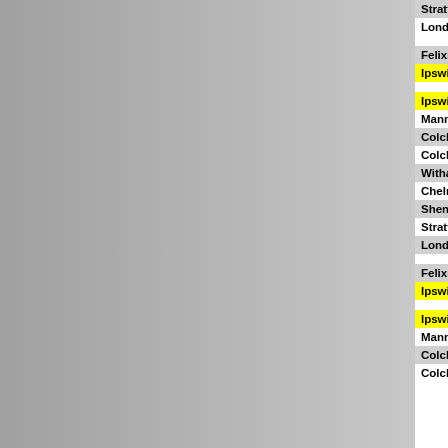| Station | Time1 | Time2 | Time3 |
| --- | --- | --- | --- |
| Stratford | 07:12 |  | 08:1x |
| London Liverpool Street | 07:22 |  | 08:23 |
|  |  |  |  |
| Felixstowe | 12:28 |  | 13:28 |
| Ipswich arr | 12:54 |  | 13:54 |
|  |  |  |  |
| Ipswich dep | 13:10 |  | 14:10 |
| Manningtree | 13:19 |  | 14:19 |
| Colchester arr | 13:29 |  | 14:29 |
| Colchester dep | 13:30 | 13:33 | 14:30 |
| Witham | | | 13:46 | | |
| Chelmsford | | | 13:55 | | |
| Shenfield | | | 14:07 | | |
| Stratford | | | 14:23 | | |
| London Liverpool Street | 14:15 |  | 15:17 |
|  |  |  |  |
| Felixstowe | 19:28 |  | 20:28 |
| Ipswich arr | 19:54 |  | 20:54 |
|  |  |  |  |
| Ipswich dep | 20:10 |  | 21:10 |
| Manningtree | 20:20 |  | 21:20 |
| Colchester arr | 20:28 |  | 21:28 |
| Colchester dep | 20:30 | 20:33 | 21:30 |